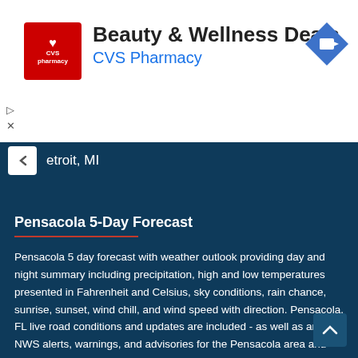[Figure (logo): CVS Pharmacy advertisement banner with red CVS logo, text 'Beauty & Wellness Deals' and 'CVS Pharmacy' in blue, and a blue navigation arrow icon on the right]
etroit, MI
Pensacola 5-Day Forecast
Pensacola 5 day forecast with weather outlook providing day and night summary including precipitation, high and low temperatures presented in Fahrenheit and Celsius, sky conditions, rain chance, sunrise, sunset, wind chill, and wind speed with direction. Pensacola, FL live road conditions and updates are included - as well as any NWS alerts, warnings, and advisories for the Pensacola area and overall Escambia county, Florida.